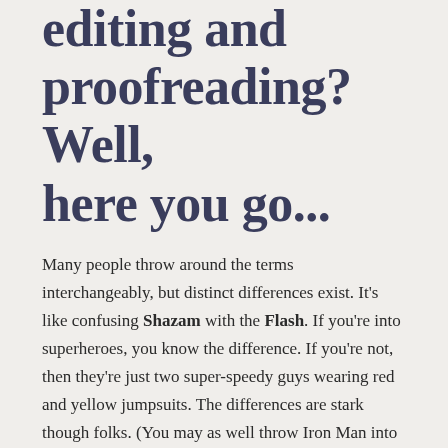editing and proofreading? Well, here you go...
Many people throw around the terms interchangeably, but distinct differences exist. It’s like confusing Shazam with the Flash. If you’re into superheroes, you know the difference. If you’re not, then they’re just two super-speedy guys wearing red and yellow jumpsuits. The differences are stark though folks. (You may as well throw Iron Man into the mix while you’re at it.)
Anyway, I rely on dictionary definitions for comparison and to settle any disputes. We’ll refer to Merriam-Webster’s expertise.
Edit means either of the following: